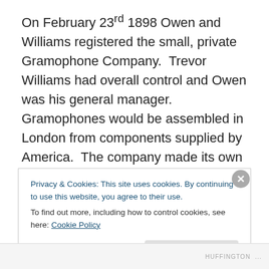On February 23rd 1898 Owen and Williams registered the small, private Gramophone Company. Trevor Williams had overall control and Owen was his general manager. Gramophones would be assembled in London from components supplied by America. The company made its own recordings, but the actual records would be pressed at a factory in Hanover, Germany, at a factory plant owned by Berliner's brother. Trevor Williams knew that the American taste in music would not be big sellers in the Victorian salons, so recording specific musicians that would be to the taste of Victorian Britain was essential.
Privacy & Cookies: This site uses cookies. By continuing to use this website, you agree to their use.
To find out more, including how to control cookies, see here: Cookie Policy
Close and accept